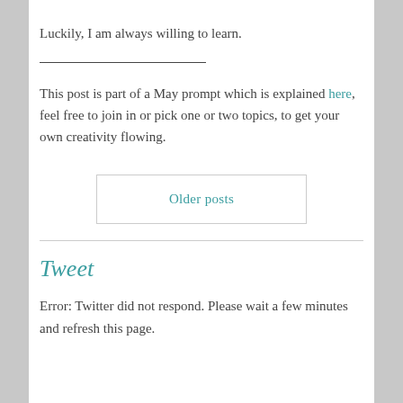Luckily, I am always willing to learn.
This post is part of a May prompt which is explained here, feel free to join in or pick one or two topics, to get your own creativity flowing.
Older posts
Tweet
Error: Twitter did not respond. Please wait a few minutes and refresh this page.